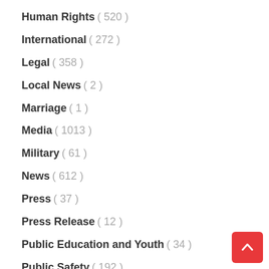Human Rights ( 520 )
International ( 272 )
Legal ( 358 )
Local News ( 2 )
Marriage ( 1 )
Media ( 1013 )
Military ( 61 )
News ( 612 )
Press ( 37 )
Press Release ( 12 )
Public Education and Youth ( 34 )
Public Safety ( 192 )
Religion ( 114 )